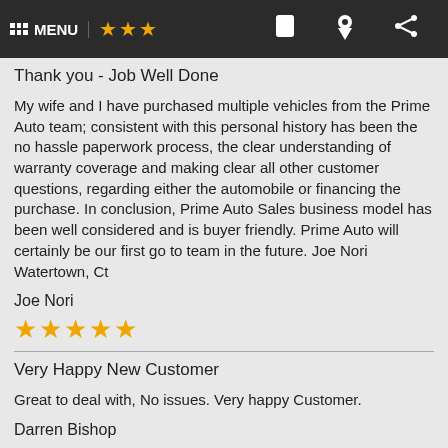MENU [navigation bar with stars, phone, location, share icons]
Thank you - Job Well Done
My wife and I have purchased multiple vehicles from the Prime Auto team; consistent with this personal history has been the no hassle paperwork process, the clear understanding of warranty coverage and making clear all other customer questions, regarding either the automobile or financing the purchase. In conclusion, Prime Auto Sales business model has been well considered and is buyer friendly. Prime Auto will certainly be our first go to team in the future. Joe Nori Watertown, Ct
Joe Nori
★★★★★
Very Happy New Customer
Great to deal with, No issues. Very happy Customer.
Darren Bishop
★★★★★